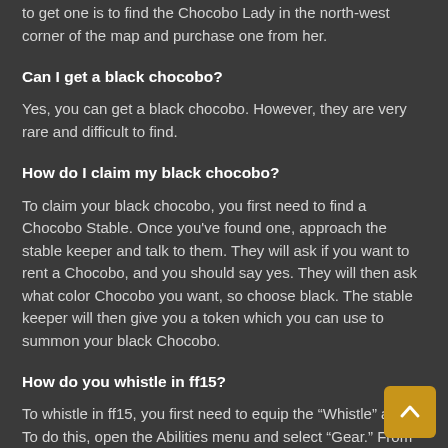to get one is to find the Chocobo Lady in the north-west corner of the map and purchase one from her.
Can I get a black chocobo?
Yes, you can get a black chocobo. However, they are very rare and difficult to find.
How do I claim my black chocobo?
To claim your black chocobo, you first need to find a Chocobo Stable. Once you've found one, approach the stable keeper and talk to them. They will ask if you want to rent a Chocobo, and you should say yes. They will then ask what color Chocobo you want, so choose black. The stable keeper will then give you a token which you can use to summon your black Chocobo.
How do you whistle in ff15?
To whistle in ff15, you first need to equip the “Whistle” ability. To do this, open the Abilities menu and select “Gear.” From there, scroll